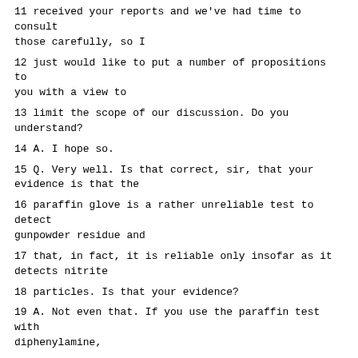11 received your reports and we've had time to consult those carefully, so I
12 just would like to put a number of propositions to you with a view to
13 limit the scope of our discussion. Do you understand?
14 A. I hope so.
15 Q. Very well. Is that correct, sir, that your evidence is that the
16 paraffin glove is a rather unreliable test to detect gunpowder residue and
17 that, in fact, it is reliable only insofar as it detects nitrite
18 particles. Is that your evidence?
19 A. Not even that. If you use the paraffin test with diphenylamine,
20 then there are other substances which could cause a positive reaction.
21 Q. Yes. And you've indicated also that the nitrite particles that
22 could be detected by the diphenylamine chemical